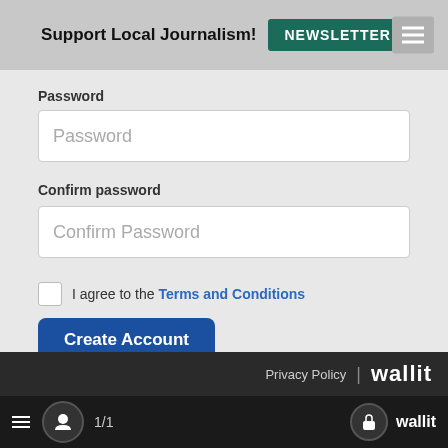Support Local Journalism! NEWSLETTER
Password
[Figure (screenshot): Password input field (empty)]
Confirm password
[Figure (screenshot): Confirm Password input field (empty)]
I agree to the Terms and Conditions
Create Account
Log In
Privacy Policy | wallit
1/1  wallit